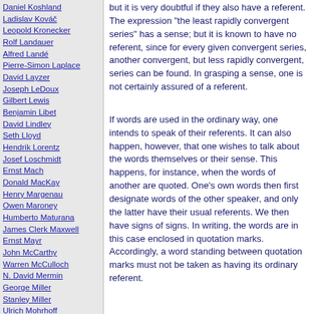Daniel Koshland
Ladislav Kováč
Leopold Kronecker
Rolf Landauer
Alfred Landé
Pierre-Simon Laplace
David Layzer
Joseph LeDoux
Gilbert Lewis
Benjamin Libet
David Lindley
Seth Lloyd
Hendrik Lorentz
Josef Loschmidt
Ernst Mach
Donald MacKay
Henry Margenau
Owen Maroney
Humberto Maturana
James Clerk Maxwell
Ernst Mayr
John McCarthy
Warren McCulloch
N. David Mermin
George Miller
Stanley Miller
Ulrich Mohrhoff
Jacques Monod
Emmy Noether
Alexander Oparin
Abraham Pais
Howard Pattee
Wolfgang Pauli
Massimo Pauri
Roger Penrose
Steven Pinker
Colin Pittendrigh
but it is very doubtful if they also have a referent. The expression "the least rapidly convergent series" has a sense; but it is known to have no referent, since for every given convergent series, another convergent, but less rapidly convergent, series can be found. In grasping a sense, one is not certainly assured of a referent.
If words are used in the ordinary way, one intends to speak of their referents. It can also happen, however, that one wishes to talk about the words themselves or their sense. This happens, for instance, when the words of another are quoted. One's own words then first designate words of the other speaker, and only the latter have their usual referents. We then have signs of signs. In writing, the words are in this case enclosed in quotation marks. Accordingly, a word standing between quotation marks must not be taken as having its ordinary referent.